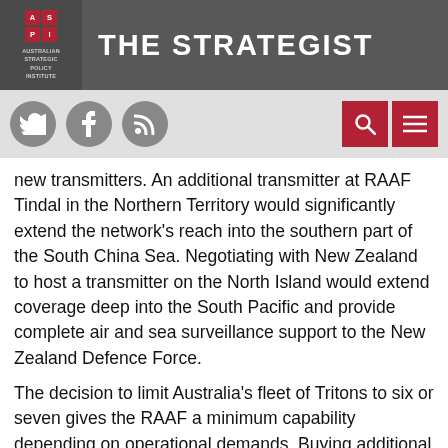THE STRATEGIST
new transmitters. An additional transmitter at RAAF Tindal in the Northern Territory would significantly extend the network's reach into the southern part of the South China Sea. Negotiating with New Zealand to host a transmitter on the North Island would extend coverage deep into the South Pacific and provide complete air and sea surveillance support to the New Zealand Defence Force.
The decision to limit Australia's fleet of Tritons to six or seven gives the RAAF a minimum capability depending on operational demands. Buying additional aircraft would give greater mission assurance. The number of airframes required would be determined by the complexity of operational demands.
Triton and JORN could also be supplemented with a robust space-based ISR capability that would enable us to see deeper